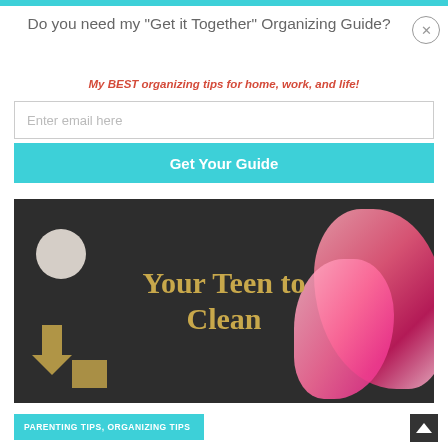Do you need my "Get it Together" Organizing Guide?
My BEST organizing tips for home, work, and life!
Enter email here
Get Your Guide
[Figure (photo): Dark background image with gold text reading 'Your Teen to Clean', pink and rose flowers on the right side, a white circular mirror on the left, and gold decorative objects at the bottom]
PARENTING TIPS, ORGANIZING TIPS